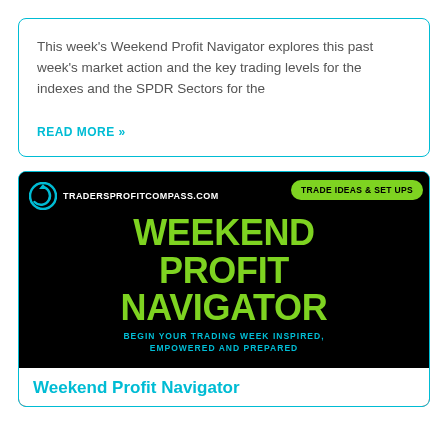This week's Weekend Profit Navigator explores this past week's market action and the key trading levels for the indexes and the SPDR Sectors for the
READ MORE »
[Figure (screenshot): Black banner image for TradersprofitCompass.com showing 'Weekend Profit Navigator' in large green text with a green badge reading 'TRADE IDEAS & SET UPS' and blue subtitle 'BEGIN YOUR TRADING WEEK INSPIRED, EMPOWERED AND PREPARED']
Weekend Profit Navigator